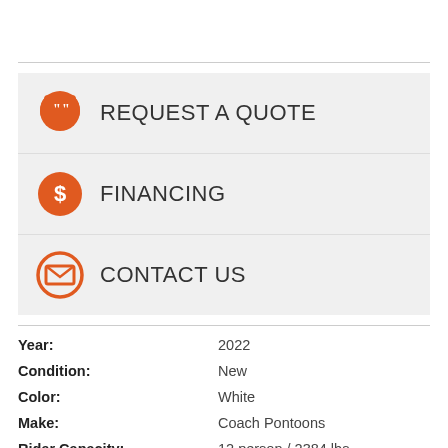[Figure (infographic): Orange speech bubble icon with quote marks, labeled REQUEST A QUOTE]
[Figure (infographic): Orange circle with dollar sign icon, labeled FINANCING]
[Figure (infographic): Orange circle with envelope icon, labeled CONTACT US]
| Year: | 2022 |
| Condition: | New |
| Color: | White |
| Make: | Coach Pontoons |
| Rider Capacity: | 12 person / 2384 lbs |
| SKU: | 4486 |